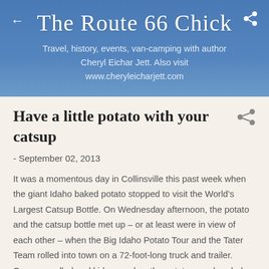The Route 66 Chick
Travel, history, events, van-camping with author Cheryl Eichar Jett. Also visit www.cheryleicharjett.com
Have a little potato with your catsup
- September 02, 2013
It was a momentous day in Collinsville this past week when the giant Idaho baked potato stopped to visit the World's Largest Catsup Bottle. On Wednesday afternoon, the potato and the catsup bottle met up – or at least were in view of each other – when the Big Idaho Potato Tour and the Tater Team rolled into town on a 72-foot-long truck and trailer. Cameras rolled and kids posed as the potato crew handed out souvenir postcards with facts about the giant sprayed-concrete potato.